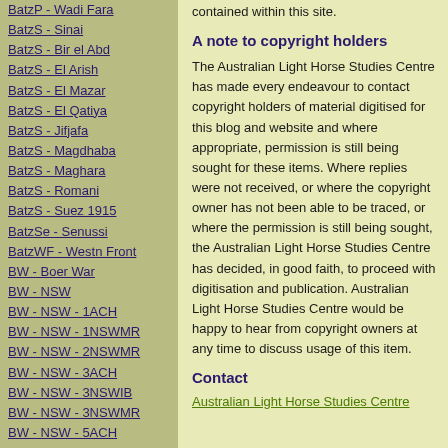BatzP - Wadi Fara
BatzS - Sinai
BatzS - Bir el Abd
BatzS - El Arish
BatzS - El Mazar
BatzS - El Qatiya
BatzS - Jifjafa
BatzS - Magdhaba
BatzS - Maghara
BatzS - Romani
BatzS - Suez 1915
BatzSe - Senussi
BatzWF - Westn Front
BW - Boer War
BW - NSW
BW - NSW - 1ACH
BW - NSW - 1NSWMR
BW - NSW - 2NSWMR
BW - NSW - 3ACH
BW - NSW - 3NSWIB
BW - NSW - 3NSWMR
BW - NSW - 5ACH
BW - NSW - A Bty RAA
BW - NSW - AAMC
BW - NSW - Aust H
BW - NSW - Lancers
BW - NSW - NSW Inf
BW - NSW - NSWCBC
contained within this site.
A note to copyright holders
The Australian Light Horse Studies Centre has made every endeavour to contact copyright holders of material digitised for this blog and website and where appropriate, permission is still being sought for these items. Where replies were not received, or where the copyright owner has not been able to be traced, or where the permission is still being sought, the Australian Light Horse Studies Centre has decided, in good faith, to proceed with digitisation and publication. Australian Light Horse Studies Centre would be happy to hear from copyright owners at any time to discuss usage of this item.
Contact
Australian Light Horse Studies Centre